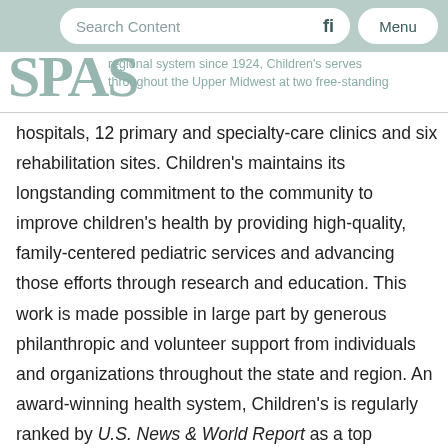Search Content | Menu
[Figure (logo): SPAS logo text in teal/sage color overlaid with partial text: 'regional system since 1924, Children's serves throughout the Upper Midwest at two free-standing']
hospitals, 12 primary and specialty-care clinics and six rehabilitation sites. Children's maintains its longstanding commitment to the community to improve children's health by providing high-quality, family-centered pediatric services and advancing those efforts through research and education. This work is made possible in large part by generous philanthropic and volunteer support from individuals and organizations throughout the state and region. An award-winning health system, Children's is regularly ranked by U.S. News & World Report as a top children's hospital and by The Leapfrog Group for quality and efficiency. Please